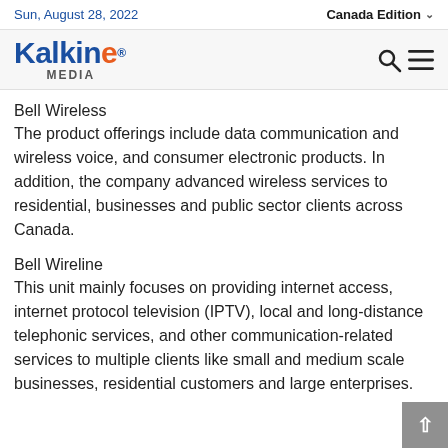Sun, August 28, 2022 | Canada Edition
[Figure (logo): Kalkine Media logo with blue and orange text]
Bell Wireless
The product offerings include data communication and wireless voice, and consumer electronic products. In addition, the company advanced wireless services to residential, businesses and public sector clients across Canada.
Bell Wireline
This unit mainly focuses on providing internet access, internet protocol television (IPTV), local and long-distance telephonic services, and other communication-related services to multiple clients like small and medium scale businesses, residential customers and large enterprises.